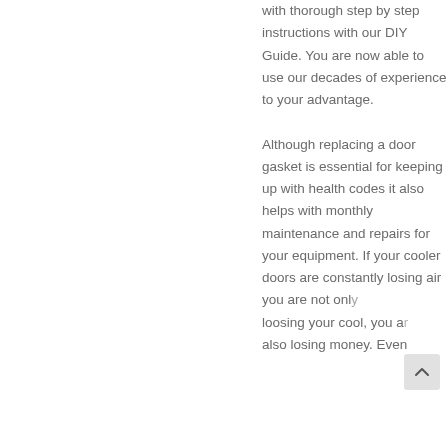with thorough step by step instructions with our DIY Guide. You are now able to use our decades of experience to your advantage.

Although replacing a door gasket is essential for keeping up with health codes it also helps with monthly maintenance and repairs for your equipment. If your cooler doors are constantly losing air you are not only loosing your cool, you are also losing money. Even